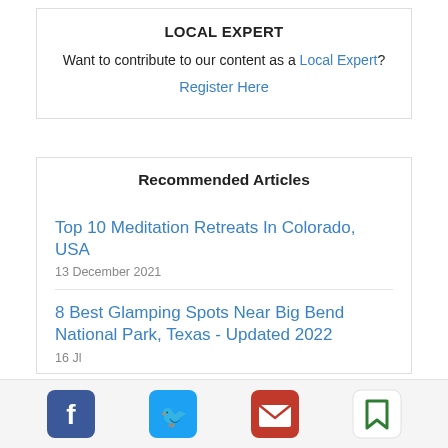LOCAL EXPERT
Want to contribute to our content as a Local Expert?
Register Here
Recommended Articles
Top 10 Meditation Retreats In Colorado, USA
13 December 2021
8 Best Glamping Spots Near Big Bend National Park, Texas - Updated 2022
16 Jl
[Figure (other): Social sharing icons bar: Facebook (blue), Twitter (blue), Email (red envelope), Bookmark (green)]